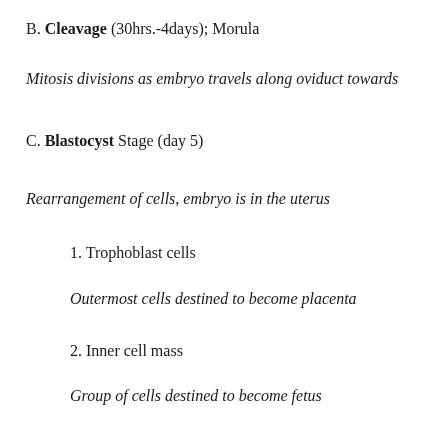B. Cleavage (30hrs.-4days); Morula
Mitosis divisions as embryo travels along oviduct towards
C. Blastocyst Stage (day 5)
Rearrangement of cells, embryo is in the uterus
1. Trophoblast cells
Outermost cells destined to become placenta
2. Inner cell mass
Group of cells destined to become fetus
3. Implantation (Day 7-8)